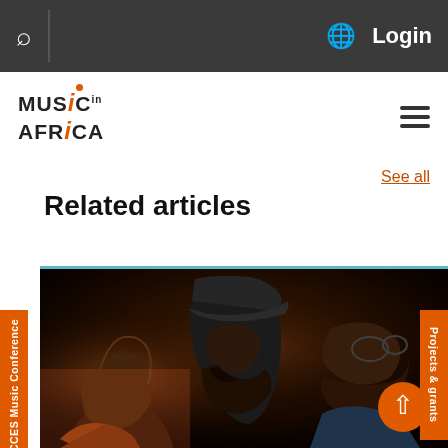Music In Africa website header with search, globe/language, and Login navigation
[Figure (logo): Music in Africa logo with stylized orange italic i and orange dot]
See all
Related articles
[Figure (photo): Three men photographed in profile against a dark background, side-lit in warm orange tones]
ACCES Music Conference
Projects & grants